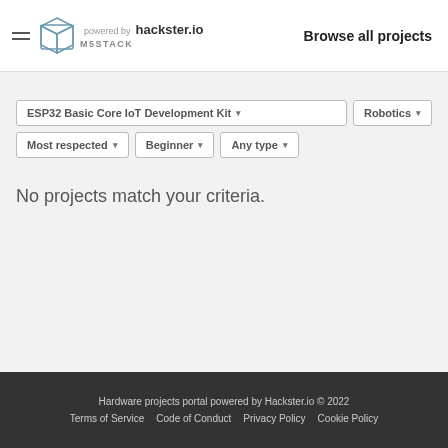M5STACK powered by hackster.io — Browse all projects
ESP32 Basic Core IoT Development Kit ▾
Robotics ▾
Most respected ▾
Beginner ▾
Any type ▾
No projects match your criteria.
Hardware projects portal powered by Hackster.io © 2022
Terms of Service    Code of Conduct    Privacy Policy    Cookie Policy